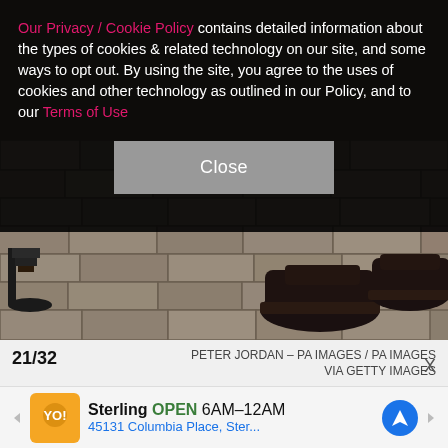Our Privacy / Cookie Policy contains detailed information about the types of cookies & related technology on our site, and some ways to opt out. By using the site, you agree to the uses of cookies and other technology as outlined in our Policy, and to our Terms of Use
[Figure (photo): Close-up photo of feet and shoes on a brick pavement — a woman's high-heeled sandals on the left and men's dark dress shoes on the right.]
21/32   PETER JORDAN – PA IMAGES / PA IMAGES VIA GETTY IMAGES
Another beloved Hollywood couple at the BAFTAs? Cate Blanchett and husband Andrew Upton! The pair held hands as they arrived at the 51st Annual British Academy Film Awards at the Grosvenor House Hotel
Sterling  OPEN  6AM–12AM  45131 Columbia Place, Ster...